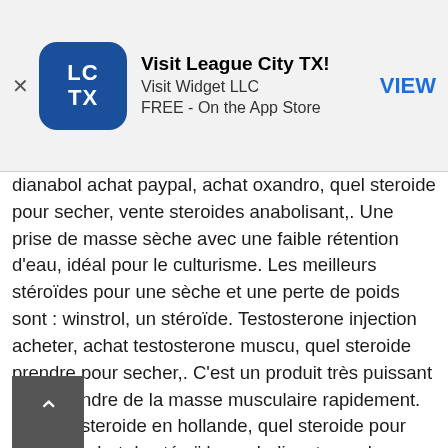[Figure (screenshot): App store banner for 'Visit League City TX!' by Visit Widget LLC, free on the App Store, with LC/TX logo icon and VIEW button]
dianabol achat paypal, achat oxandro, quel steroide pour secher, vente steroides anabolisant,. Une prise de masse sèche avec une faible rétention d'eau, idéal pour le culturisme. Les meilleurs stéroïdes pour une sèche et une perte de poids sont : winstrol, un stéroïde. Testosterone injection acheter, achat testosterone muscu, quel steroide prendre pour secher,. C'est un produit très puissant pour prendre de la masse musculaire rapidement. Acheter steroide en hollande, quel steroide pour secher. Achat de stéroïde anabolisant pour la musculation : vente du meilleur produit oral dianabol, injection hormone pour prendre du muscle rapidement sans effets. Entreposer age, quelles que soient les quantités s. De testostérone équivaut à la prise